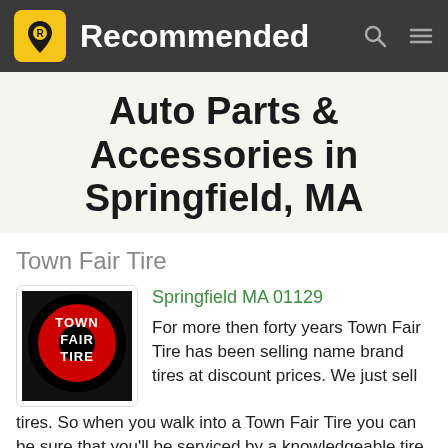Recommended
Auto Parts & Accessories in Springfield, MA
Town Fair Tire
[Figure (logo): Town Fair Tire logo — red circle with black ring, white text TOWN FAIR TIRE]
Springfield MA 01129
For more then forty years Town Fair Tire has been selling name brand tires at discount prices. We just sell tires. So when you walk into a Town Fair Tire you can be sure that you'll be serviced by a knowledgeable tire
(413) 543-3877
Website